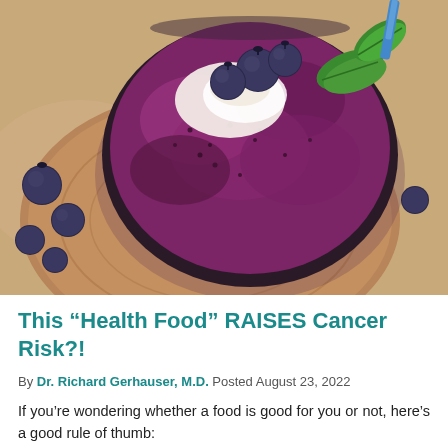[Figure (photo): Overhead view of a blueberry smoothie bowl in a dark bowl on a wooden board, surrounded by fresh blueberries and green mint leaves.]
This “Health Food” RAISES Cancer Risk?!
By Dr. Richard Gerhauser, M.D. Posted August 23, 2022
If you’re wondering whether a food is good for you or not, here’s a good rule of thumb: